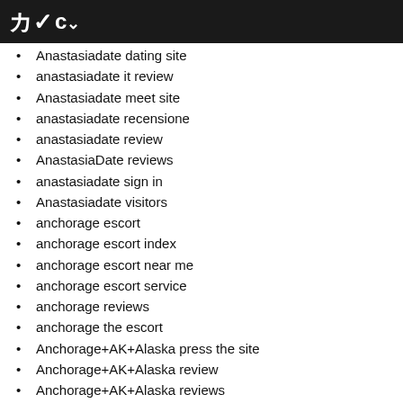Cv
Anastasiadate dating site
anastasiadate it review
Anastasiadate meet site
anastasiadate recensione
anastasiadate review
AnastasiaDate reviews
anastasiadate sign in
Anastasiadate visitors
anchorage escort
anchorage escort index
anchorage escort near me
anchorage escort service
anchorage reviews
anchorage the escort
Anchorage+AK+Alaska press the site
Anchorage+AK+Alaska review
Anchorage+AK+Alaska reviews
Android
Android apps
Android best canadian casino
android cs pro iPhone
android dating dating
Android free transgender dating websites